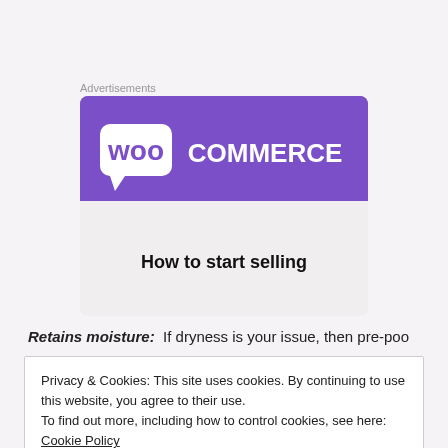Advertisements
[Figure (logo): WooCommerce advertisement banner with purple header containing WooCommerce logo, teal triangle decoration, light grey body, and text 'How to start selling']
Retains moisture: If dryness is your issue, then pre-poo
Privacy & Cookies: This site uses cookies. By continuing to use this website, you agree to their use.
To find out more, including how to control cookies, see here: Cookie Policy
Close and accept